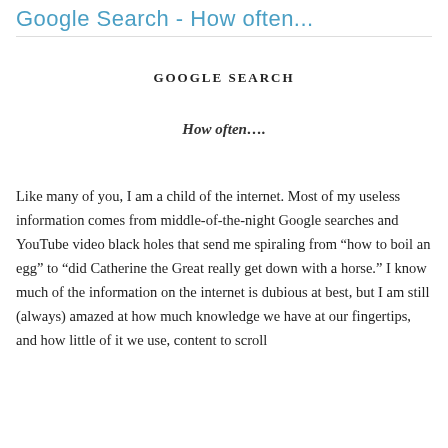Google Search - How often...
GOOGLE SEARCH
How often….
Like many of you, I am a child of the internet. Most of my useless information comes from middle-of-the-night Google searches and YouTube video black holes that send me spiraling from “how to boil an egg” to “did Catherine the Great really get down with a horse.” I know much of the information on the internet is dubious at best, but I am still (always) amazed at how much knowledge we have at our fingertips, and how little of it we use, content to scroll